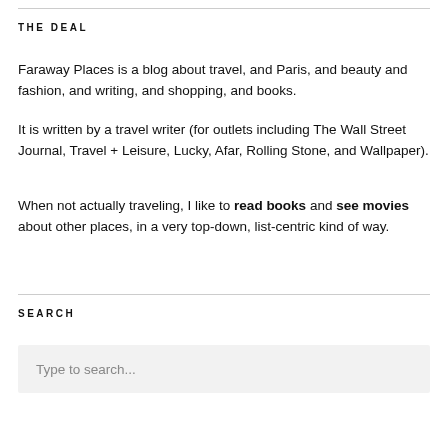THE DEAL
Faraway Places is a blog about travel, and Paris, and beauty and fashion, and writing, and shopping, and books.
It is written by a travel writer (for outlets including The Wall Street Journal, Travel + Leisure, Lucky, Afar, Rolling Stone, and Wallpaper).
When not actually traveling, I like to read books and see movies about other places, in a very top-down, list-centric kind of way.
SEARCH
Type to search...